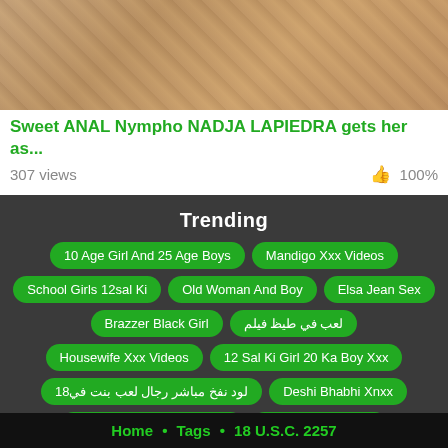[Figure (photo): Thumbnail image of a video, showing a close-up of a person with tattoos]
Sweet ANAL Nympho NADJA LAPIEDRA gets her as...
307 views   👍 100%
Trending
10 Age Girl And 25 Age Boys
Mandigo Xxx Videos
School Girls 12sal Ki
Old Woman And Boy
Elsa Jean Sex
Brazzer Black Girl
لعب في طيظ فيلم
Housewife Xxx Videos
12 Sal Ki Girl 20 Ka Boy Xxx
لود نفخ مباشر رجال لعب بنت في18
Deshi Bhabhi Xnxx
سکس با خشونت وکنک وازار
Hollywood Heroine
ماندیگو با دوست اولدا
Family Dad Sis Bro Mom
Home • Tags • 18 U.S.C. 2257